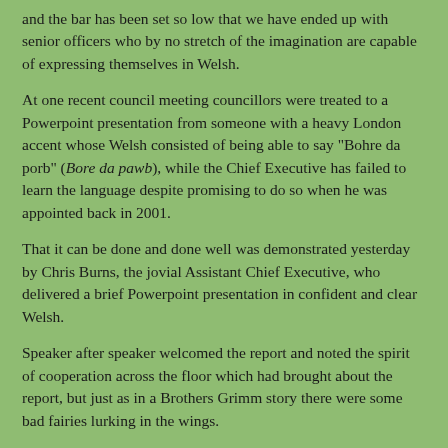and the bar has been set so low that we have ended up with senior officers who by no stretch of the imagination are capable of expressing themselves in Welsh.
At one recent council meeting councillors were treated to a Powerpoint presentation from someone with a heavy London accent whose Welsh consisted of being able to say "Bohre da porb" (Bore da pawb), while the Chief Executive has failed to learn the language despite promising to do so when he was appointed back in 2001.
That it can be done and done well was demonstrated yesterday by Chris Burns, the jovial Assistant Chief Executive, who delivered a brief Powerpoint presentation in confident and clear Welsh.
Speaker after speaker welcomed the report and noted the spirit of cooperation across the floor which had brought about the report, but just as in a Brothers Grimm story there were some bad fairies lurking in the wings.
Meryl Gravell was worried that the council might send out a message to investors that the council was no longer open for